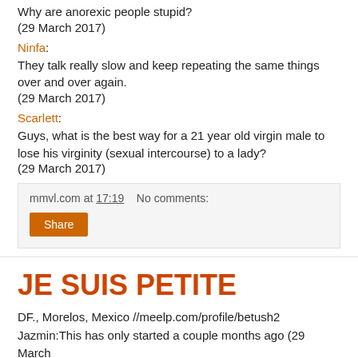Why are anorexic people stupid?
(29 March 2017)
Ninfa:
They talk really slow and keep repeating the same things over and over again.
(29 March 2017)
Scarlett:
Guys, what is the best way for a 21 year old virgin male to lose his virginity (sexual intercourse) to a lady?
(29 March 2017)
mmvl.com at 17:19    No comments:
Share
JE SUIS PETITE
DF., Morelos, Mexico //meelp.com/profile/betush2
Jazmin:This has only started a couple months ago (29 March